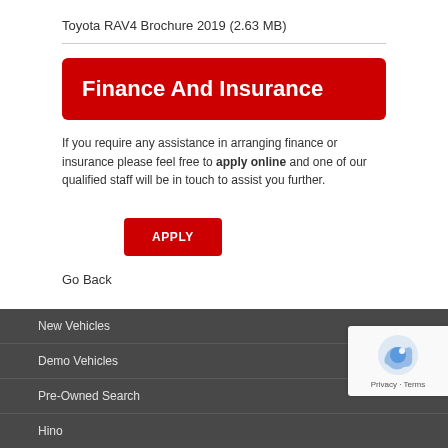Toyota RAV4 Brochure 2019 (2.63 MB)
Finance And Insurance
If you require any assistance in arranging finance or insurance please feel free to apply online and one of our qualified staff will be in touch to assist you further.
APPLY
Go Back
New Vehicles
Demo Vehicles
Pre-Owned Search
Hino